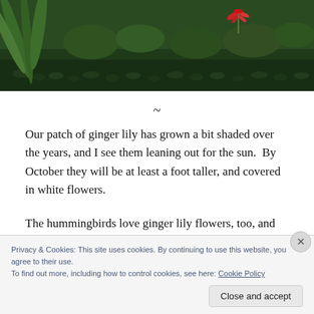[Figure (photo): Garden photo showing green foliage, large tropical leaves, dense ground cover plants, and a red flower (ginger lily or similar) visible in the upper right area against a lush garden background.]
~
Our patch of ginger lily has grown a bit shaded over the years, and I see them leaning out for the sun.  By October they will be at least a foot taller, and covered in white flowers.
The hummingbirds love ginger lily flowers, too, and we've
Privacy & Cookies: This site uses cookies. By continuing to use this website, you agree to their use.
To find out more, including how to control cookies, see here: Cookie Policy
Close and accept